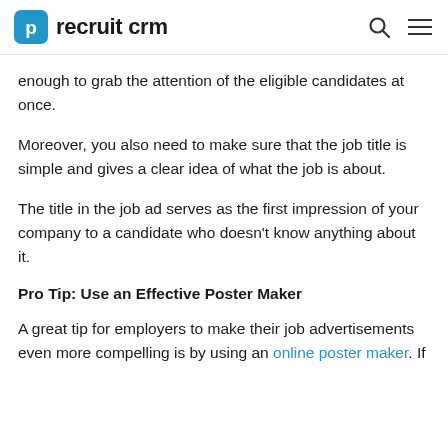recruit crm
enough to grab the attention of the eligible candidates at once.
Moreover, you also need to make sure that the job title is simple and gives a clear idea of what the job is about.
The title in the job ad serves as the first impression of your company to a candidate who doesn't know anything about it.
Pro Tip: Use an Effective Poster Maker
A great tip for employers to make their job advertisements even more compelling is by using an online poster maker. If